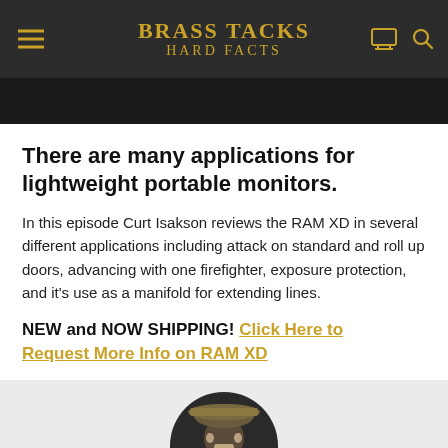BRASS TACKS HARD FACTS
There are many applications for lightweight portable monitors.
In this episode Curt Isakson reviews the RAM XD in several different applications including attack on standard and roll up doors, advancing with one firefighter, exposure protection, and it's use as a manifold for extending lines.
NEW and NOW SHIPPING! Click Here to Request More Info on RAM XD
[Figure (photo): Circular photo of a firefighter wearing a helmet]